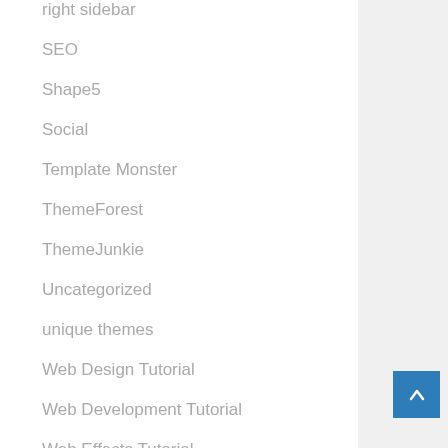right sidebar
SEO
Shape5
Social
Template Monster
ThemeForest
ThemeJunkie
Uncategorized
unique themes
Web Design Tutorial
Web Development Tutorial
Web Effects Tutorial
Webostock
widget ready